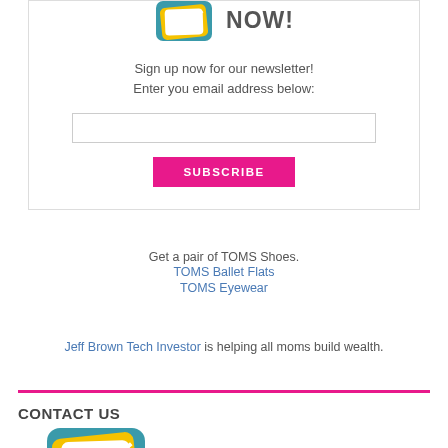[Figure (logo): Colorful envelope/mail logo icon with teal, yellow, and white layers]
NOW!
Sign up now for our newsletter!
Enter you email address below:
Get a pair of TOMS Shoes.
TOMS Ballet Flats
TOMS Eyewear
Jeff Brown Tech Investor is helping all moms build wealth.
CONTACT US
[Figure (logo): Colorful envelope/mail logo icon (partial, bottom of page)]